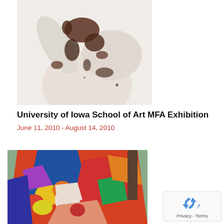[Figure (photo): Black and white artistic photo of a human torso/back with dark blotched pattern, arm raised behind head]
University of Iowa School of Art MFA Exhibition
June 11, 2010 - August 14, 2010
[Figure (photo): Colorful abstract/expressionist still life painting with vibrant reds, yellows, blues showing a table with fruit and draped cloth]
[Figure (other): reCAPTCHA widget with recycle/arrows icon]